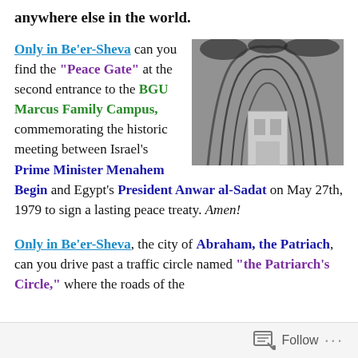anywhere else in the world.
Only in Be'er-Sheva can you find the "Peace Gate" at the second entrance to the BGU Marcus Family Campus, commemorating the historic meeting between Israel's Prime Minister Menahem Begin and Egypt's President Anwar al-Sadat on May 27th, 1979 to sign a lasting peace treaty. Amen!
[Figure (photo): Black and white photograph of an architectural structure with curved metallic arches and a building entrance, resembling a gate or pavilion]
Only in Be'er-Sheva, the city of Abraham, the Patriach, can you drive past a traffic circle named "the Patriarch's Circle," where the roads of the
Follow ...